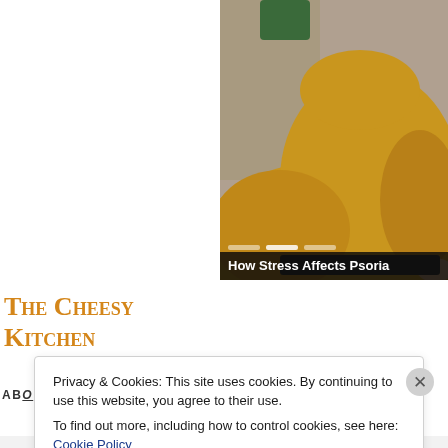[Figure (photo): Cropped photo of a person wearing a yellow/mustard knit sweater, seated on a couch with yellow/mustard pillows, viewed from right side. Partially visible image. A video carousel overlay bar shows 'How Stress Affects Psoria...' and navigation dots at the bottom of the image.]
The Cheesy Kitchen
ABO
Privacy & Cookies: This site uses cookies. By continuing to use this website, you agree to their use.
To find out more, including how to control cookies, see here: Cookie Policy
Close and accept